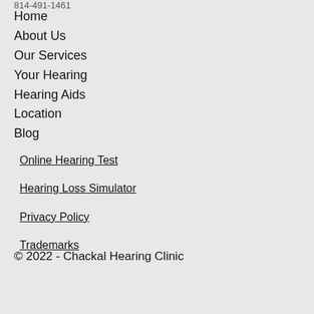814-491-1461
Home
About Us
Our Services
Your Hearing
Hearing Aids
Location
Blog
Online Hearing Test
Hearing Loss Simulator
Privacy Policy
Trademarks
© 2022 - Chackal Hearing Clinic